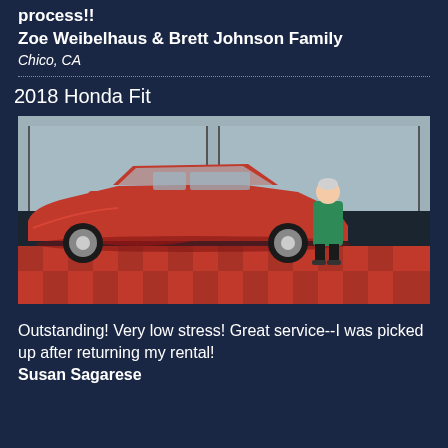process!!
Zoe Weibelhaus & Brett Johnson Family
Chico, CA
2018 Honda Fit
[Figure (photo): Person standing next to a red 2018 Honda Fit inside a car dealership showroom with checkered red floor tiles]
Outstanding! Very low stress! Great service--I was picked up after returning my rental!
Susan Sagarese